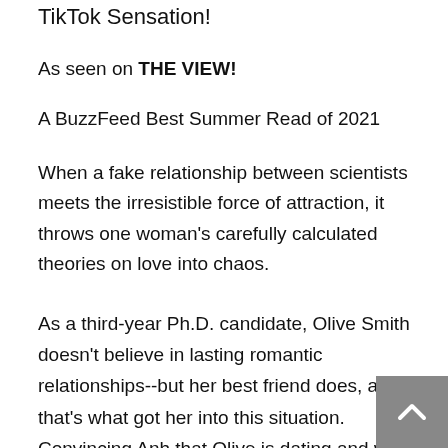TikTok Sensation!
As seen on THE VIEW!
A BuzzFeed Best Summer Read of 2021
When a fake relationship between scientists meets the irresistible force of attraction, it throws one woman's carefully calculated theories on love into chaos.
As a third-year Ph.D. candidate, Olive Smith doesn't believe in lasting romantic relationships--but her best friend does, and that's what got her into this situation. Convincing Anh that Olive is dating and well on her way to a happily ever after was always